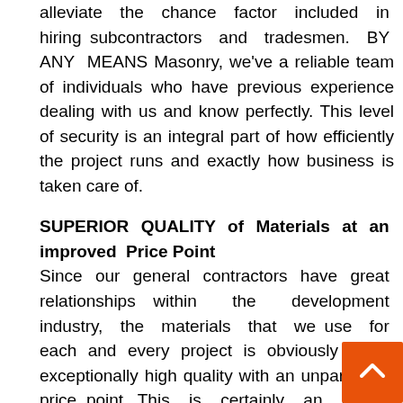alleviate the chance factor included in hiring subcontractors and tradesmen. BY ANY MEANS Masonry, we've a reliable team of individuals who have previous experience dealing with us and know perfectly. This level of security is an integral part of how efficiently the project runs and exactly how business is taken care of.
SUPERIOR QUALITY of Materials at an improved Price Point
Since our general contractors have great relationships within the development industry, the materials that we use for each and every project is obviously at an exceptionally high quality with an unparalleled price point. This is certainly an added benefit that you won't have the ability to find by yourself, especially when focusing on the price.